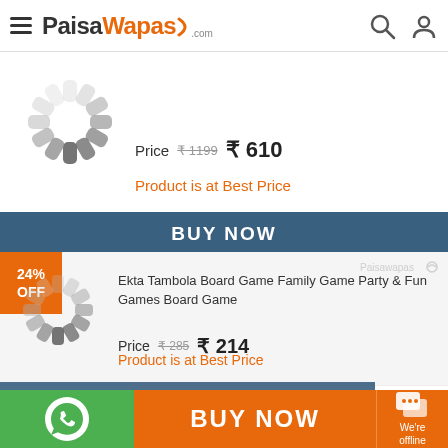PaisaWapas.com
Price ₹1199 ₹610
Product is at Best Price
BUY NOW
[Figure (logo): Loading spinner / product image placeholder]
24% OFF
Ekta Tambola Board Game Family Game Party & Fun Games Board Game
Price ₹285 ₹214
Product is at Best Price
BUY NOW
BUY NOW
We're offline